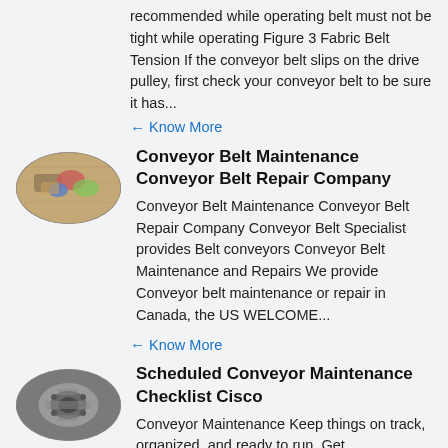recommended while operating belt must not be tight while operating Figure 3 Fabric Belt Tension If the conveyor belt slips on the drive pulley, first check your conveyor belt to be sure it has...
Know More
[Figure (photo): Oval-shaped thumbnail photo of conveyor belt maintenance equipment parts with colorful components on a wooden surface]
Conveyor Belt Maintenance Conveyor Belt Repair Company
Conveyor Belt Maintenance Conveyor Belt Repair Company Conveyor Belt Specialist provides Belt conveyors Conveyor Belt Maintenance and Repairs We provide Conveyor belt maintenance or repair in Canada, the US WELCOME...
Know More
[Figure (photo): Oval-shaped thumbnail photo of mechanical component, appears to be a conveyor or engine part, metallic and gray]
Scheduled Conveyor Maintenance Checklist Cisco
Conveyor Maintenance Keep things on track, organized, and ready to run. Get...